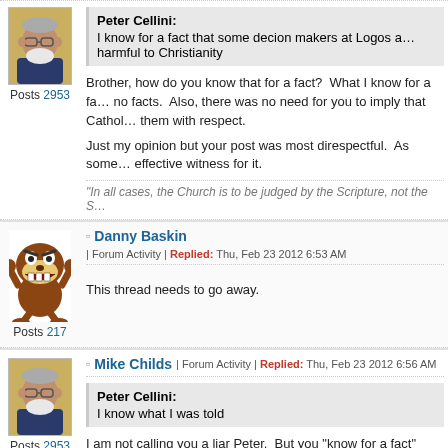[Figure (photo): Avatar photo of a man with glasses and white beard, on yellow background. Posts 2953.]
Peter Cellini: I know for a fact that some decion makers at Logos a... harmful to Christianity
Brother, how do you know that for a fact? What I know for a fa... no facts. Also, there was no need for you to imply that Cathol... them with respect.

Just my opinion but your post was most direspectful. As some... effective witness for it.
"In all cases, the Church is to be judged by the Scripture, not the S...
[Figure (illustration): Taz (Tasmanian Devil cartoon character) avatar.]
Danny Baskin | Forum Activity | Replied: Thu, Feb 23 2012 6:53 AM
This thread needs to go away.
[Figure (photo): Avatar photo of a man with glasses and white beard, on yellow background. Posts 2953.]
Mike Childs | Forum Activity | Replied: Thu, Feb 23 2012 6:56 AM
Peter Cellini: I know what I was told
I am not calling you a liar Peter. But you "know for a fact" bec... something. That was the first painful lesson that I learned as...